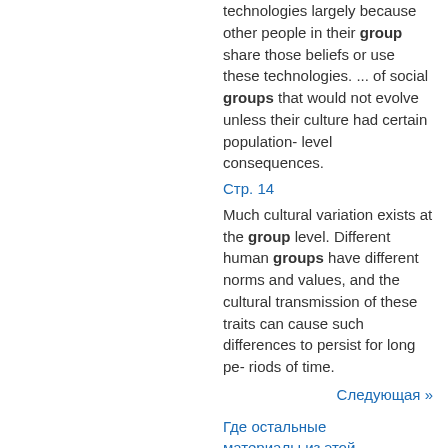technologies largely because other people in their group share those beliefs or use these technologies. ... of social groups that would not evolve unless their culture had certain population- level consequences.
Стр. 14
Much cultural variation exists at the group level. Different human groups have different norms and values, and the cultural transmission of these traits can cause such differences to persist for long pe- riods of time.
Следующая »
Где остальные материалы из этой